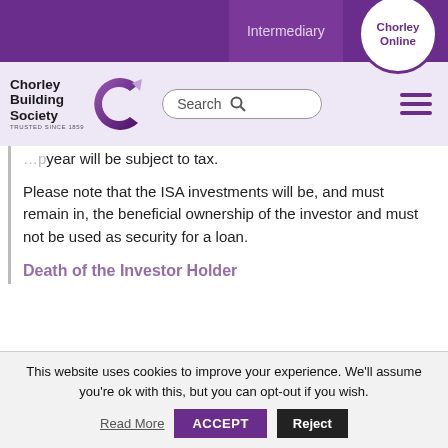Intermediary | Contact Us | Chorley Online
[Figure (logo): Chorley Building Society logo with purple C swirl and text 'TRUSTED SINCE 1859']
year will be subject to tax.
Please note that the ISA investments will be, and must remain in, the beneficial ownership of the investor and must not be used as security for a loan.
Death of the Investor Holder
This website uses cookies to improve your experience. We'll assume you're ok with this, but you can opt-out if you wish.
Read More | ACCEPT | Reject